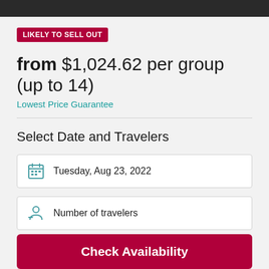[Figure (photo): Dark image bar at top of page]
LIKELY TO SELL OUT
from $1,024.62 per group (up to 14)
Lowest Price Guarantee
Select Date and Travelers
Tuesday, Aug 23, 2022
Number of travelers
Check Availability
Check Availability